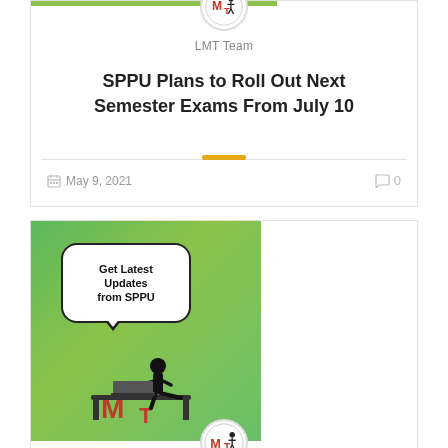LMT Team
SPPU Plans to Roll Out Next Semester Exams From July 10
May 9, 2021   0
[Figure (illustration): Green background image with a speech bubble saying 'Get Latest Updates from SPPU', a stick figure sitting at a desk/laptop, and MT logo in red at the bottom. Below the image a circular LMT logo is partially visible.]